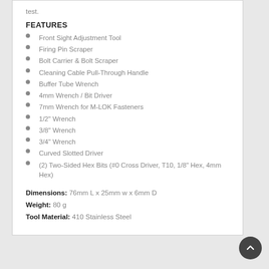test.
FEATURES
Front Sight Adjustment Tool
Firing Pin Scraper
Bolt Carrier & Bolt Scraper
Cleaning Cable Pull-Through Handle
Buffer Tube Wrench
4mm Wrench / Bit Driver
7mm Wrench for M-LOK Fasteners
1/2" Wrench
3/8" Wrench
3/4" Wrench
Curved Slotted Driver
(2) Two-Sided Hex Bits (#0 Cross Driver, T10, 1/8" Hex, 4mm Hex)
Dimensions:  76mm  L x 25mm w x 6mm D
Weight:  80 g
Tool Material:  410 Stainless Steel